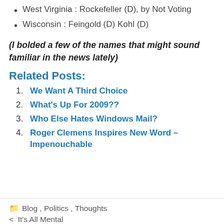West Virginia : Rockefeller (D), by Not Voting
Wisconsin : Feingold (D) Kohl (D)
(I bolded a few of the names that might sound familiar in the news lately)
Related Posts:
We Want A Third Choice
What's Up For 2009??
Who Else Hates Windows Mail?
Roger Clemens Inspires New Word – Impenouchable
Blog, Politics, Thoughts
< It's All Mental